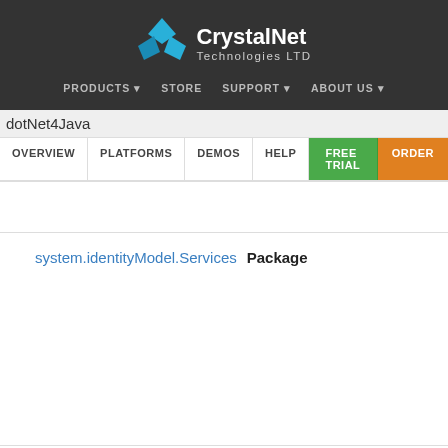[Figure (logo): CrystalNet Technologies LTD logo with blue crystal/diamond shape icon and white text on dark grey background]
PRODUCTS  STORE  SUPPORT  ABOUT US
dotNet4Java
OVERVIEW  PLATFORMS  DEMOS  HELP  FREE TRIAL  ORDER
system.identityModel.Services Package
system.identityModel.Services.Configuration Package